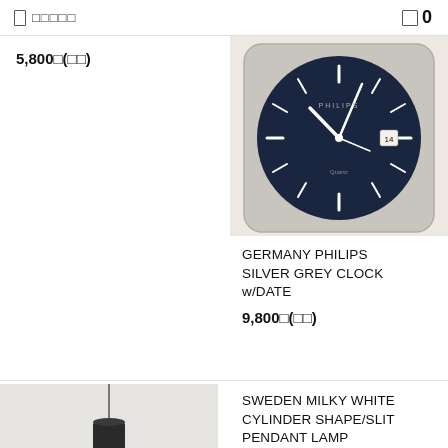□ □□□□  □ 0
5,800□(□□)
[Figure (photo): Close-up photo of a Germany Philips silver grey analog clock with date window showing a dark navy/blue face with white hands and hour markers, in a square silver-grey plastic case. Philips and Quartz branding visible.]
GERMANY PHILIPS SILVER GREY CLOCK w/DATE
9,800□(□□)
[Figure (photo): Photo of a Sweden milky white cylinder shape/slit pendant lamp hanging from ceiling. The lamp has a black cylindrical top section and a flat copper/rose-gold disc reflector at the bottom, photographed against a light grey background.]
SWEDEN MILKY WHITE CYLINDER SHAPE/SLIT PENDANT LAMP
12,000□(□□)